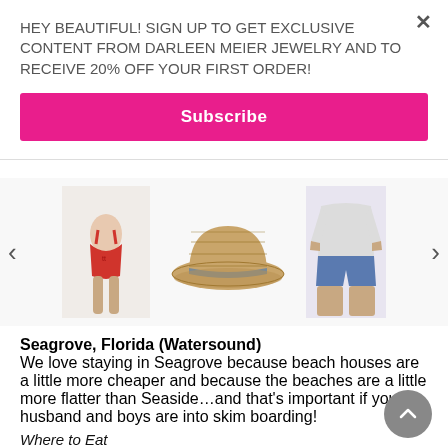HEY BEAUTIFUL! SIGN UP TO GET EXCLUSIVE CONTENT FROM DARLEEN MEIER JEWELRY AND TO RECEIVE 20% OFF YOUR FIRST ORDER!
Subscribe
[Figure (photo): Carousel showing three fashion items: a red swimsuit on a model, a woven straw hat with grey band, and a person wearing denim shorts and a white shirt]
Seagrove, Florida (Watersound)
We love staying in Seagrove because beach houses are a little more cheaper and because the beaches are a little more flatter than Seaside…and that's important if your husband and boys are into skim boarding!
Where to Eat
The Perfect Pig–tasty yummy chic bistro that serves breakfast and lunch with a focus on ham and bacon
Steamboat Grill–a good place to grab a burger or fried seafood